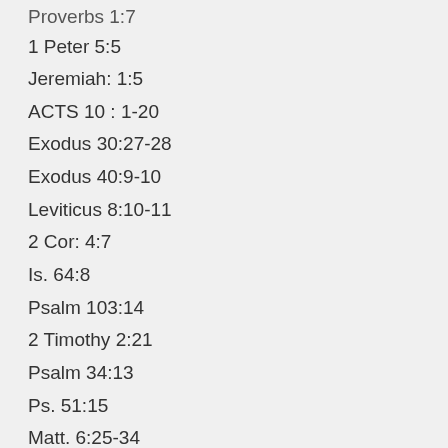Proverbs 1:7 (truncated at top)
1 Peter 5:5
Jeremiah: 1:5
ACTS 10 : 1-20
Exodus 30:27-28
Exodus 40:9-10
Leviticus 8:10-11
2 Cor: 4:7
Is. 64:8
Psalm 103:14
2 Timothy 2:21
Psalm 34:13
Ps. 51:15
Matt. 6:25-34
Proverbs 3:9-10
2 Cor. 8:1-5
Matt. 25:14-30
Acts 5:39